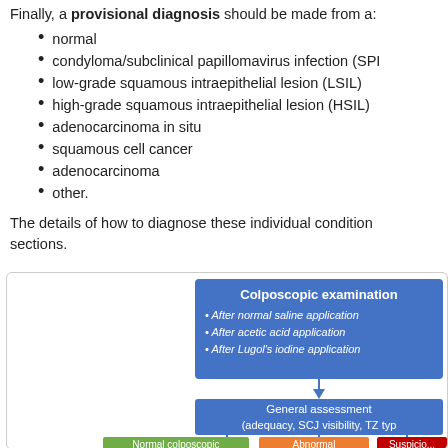Finally, a provisional diagnosis should be made from a:
normal
condyloma/subclinical papillomavirus infection (SPI)
low-grade squamous intraepithelial lesion (LSIL)
high-grade squamous intraepithelial lesion (HSIL)
adenocarcinoma in situ
squamous cell cancer
adenocarcinoma
other.
The details of how to diagnose these individual conditions are described in the following sections.
[Figure (flowchart): Colposcopic examination flowchart showing: top box 'Colposcopic examination' with bullets 'After normal saline application', 'After acetic acid application', 'After Lugol's iodine application'. Arrow down to 'General assessment (adequacy, SCJ visibility, TZ type)'. Then branches down to 'Normal colposcopic', 'Abnormal', and 'Suspicio...' (partially visible).]